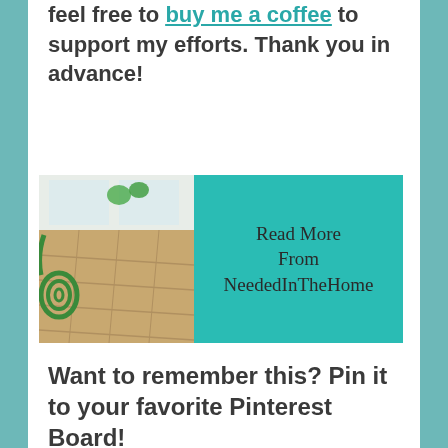feel free to buy me a coffee to support my efforts. Thank you in advance!
[Figure (illustration): Banner image with a photo of a wooden floor and green hose on the left, and teal background on the right with text 'Read More From NeededInTheHome']
Want to remember this? Pin it to your favorite Pinterest Board!